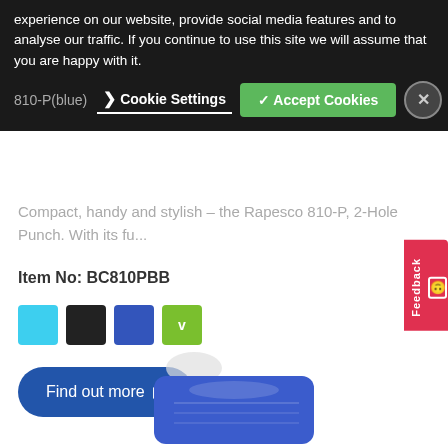experience on our website, provide social media features and to analyse our traffic. If you continue to use this site we will assume that you are happy with it.
Cookie Settings
✓ Accept Cookies
810-P (blue)
Compact, handy and stylish – the Rapesco 810-P, 2-Hole Punch. With its fu...
Item No: BC810PBB
[Figure (other): Four color swatches: light blue, black, dark blue, green with checkmark]
Find out more ▶
[Figure (photo): Bottom portion of a blue Rapesco 810-P 2-hole punch product]